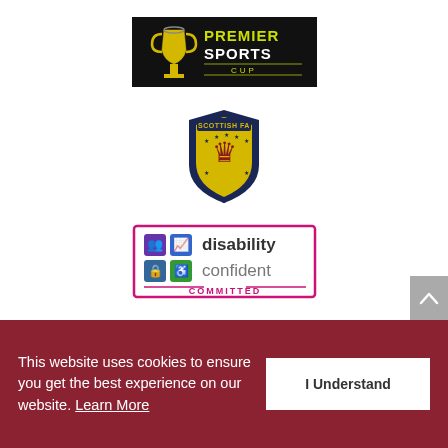[Figure (logo): Premier Sports Cup logo - black background with yellow trophy and text 'PREMIER SPORTS CUP']
[Figure (logo): Scottish FA crest logo - yellow shield with rampant lion, navy border, green stars, text 'SCOTTISH FA']
[Figure (logo): Disability Confident Committed logo - pink border, icons in colored squares, text 'disability confident COMMITTED']
This website uses cookies to ensure you get the best experience on our website. Learn More
I Understand